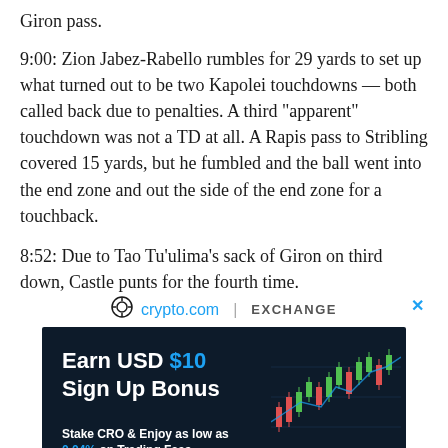Giron pass.
9:00: Zion Jabez-Rabello rumbles for 29 yards to set up what turned out to be two Kapolei touchdowns — both called back due to penalties. A third “apparent” touchdown was not a TD at all. A Rapis pass to Stribling covered 15 yards, but he fumbled and the ball went into the end zone and out the side of the end zone for a touchback.
8:52: Due to Tao Tuʻulima’s sack of Giron on third down, Castle punts for the fourth time.
[Figure (infographic): crypto.com exchange advertisement banner with 'Earn USD $10 Sign Up Bonus' text and 'Stake CRO & Enjoy as low as 0.04% on Trading Fees' tagline on dark navy background with a trading chart graphic on the right side.]